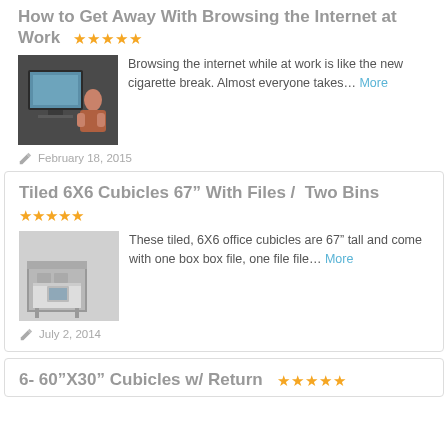How to Get Away With Browsing the Internet at Work
[Figure (photo): Person browsing internet at computer]
Browsing the internet while at work is like the new cigarette break. Almost everyone takes… More
February 18, 2015
Tiled 6X6 Cubicles 67" With Files / Two Bins
[Figure (photo): Office cubicle product image]
These tiled, 6X6 office cubicles are 67" tall and come with one box box file, one file file… More
July 2, 2014
6- 60"X30" Cubicles w/ Return